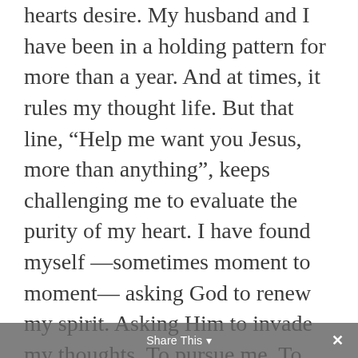hearts desire. My husband and I have been in a holding pattern for more than a year. And at times, it rules my thought life. But that line, “Help me want you Jesus, more than anything”, keeps challenging me to evaluate the purity of my heart. I have found myself —sometimes moment to moment— asking God to renew my spirit. Asking Him to invade my thoughts. To pursue me. To change me in order for me to want Him more than anything.
Share This ✕